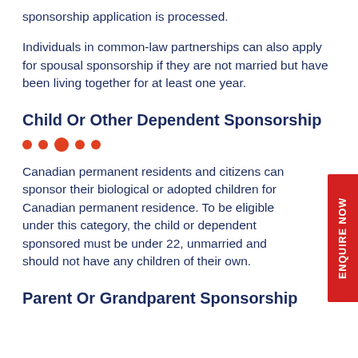sponsorship application is processed.
Individuals in common-law partnerships can also apply for spousal sponsorship if they are not married but have been living together for at least one year.
Child Or Other Dependent Sponsorship
Canadian permanent residents and citizens can sponsor their biological or adopted children for Canadian permanent residence. To be eligible under this category, the child or dependent sponsored must be under 22, unmarried and should not have any children of their own.
Parent Or Grandparent Sponsorship